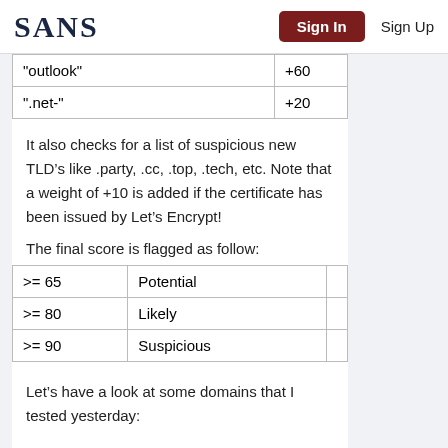SANS  Sign In  Sign Up
| "outlook" | +60 |
| ".net-" | +20 |
It also checks for a list of suspicious new TLD’s like .party, .cc, .top, .tech, etc. Note that a weight of +10 is added if the certificate has been issued by Let’s Encrypt!
The final score is flagged as follow:
| >= 65 | Potential |  |
| >= 80 | Likely |  |
| >= 90 | Suspicious |  |
Let’s have a look at some domains that I tested yesterday: